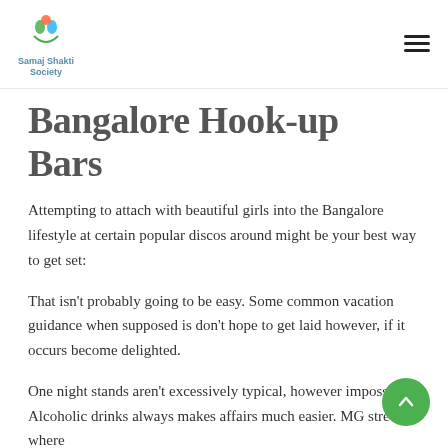Samaj Shakti Society
Bangalore Hook-up Bars
Attempting to attach with beautiful girls into the Bangalore lifestyle at certain popular discos around might be your best way to get set:
That isn't probably going to be easy. Some common vacation guidance when supposed is don't hope to get laid however, if it occurs become delighted.
One night stands aren't excessively typical, however impossible. Alcoholic drinks always makes affairs much easier. MG street is where